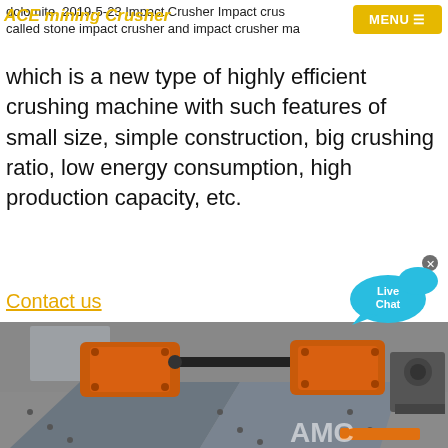ACE mining Crusher | MENU
dolomite. 2019-5-23 Impact Crusher Impact crusher called stone impact crusher and impact crusher machine, which is a new type of highly efficient crushing machine with such features of small size, simple construction, big crushing ratio, low energy consumption, high production capacity, etc.
Contact us
[Figure (photo): Industrial vibrating screen / impact crusher machine in a factory setting, orange and grey metal construction, with AMC logo watermark at bottom right.]